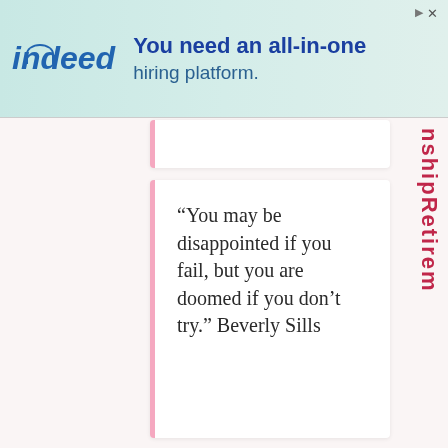[Figure (screenshot): Indeed advertisement banner: 'You need an all-in-one hiring platform.']
“You may be disappointed if you fail, but you are doomed if you don’t try.” Beverly Sills
“Few things can help an individual more